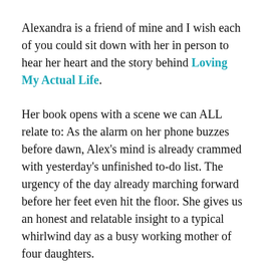Alexandra is a friend of mine and I wish each of you could sit down with her in person to hear her heart and the story behind Loving My Actual Life.
Her book opens with a scene we can ALL relate to: As the alarm on her phone buzzes before dawn, Alex's mind is already crammed with yesterday's unfinished to-do list. The urgency of the day already marching forward before her feet even hit the floor. She gives us an honest and relatable insight to a typical whirlwind day as a busy working mother of four daughters.
“I was living day after day crammed full with no